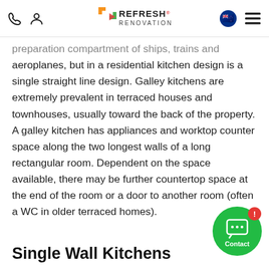Refresh Renovations - navigation header with phone, user, logo, flag, and menu icons
preparation compartment of ships, trains and aeroplanes, but in a residential kitchen design is a single straight line design. Galley kitchens are extremely prevalent in terraced houses and townhouses, usually toward the back of the property. A galley kitchen has appliances and worktop counter space along the two longest walls of a long rectangular room. Dependent on the space available, there may be further countertop space at the end of the room or a door to another room (often a WC in older terraced homes).
Single Wall Kitchens